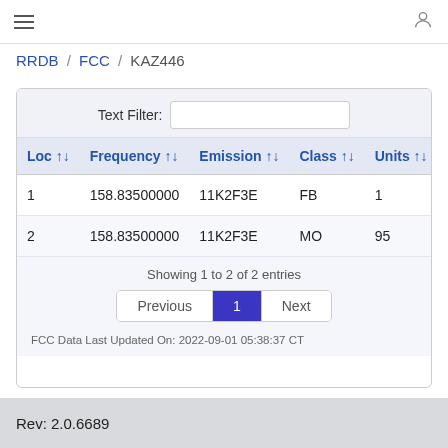≡  [user icon]
RRDB / FCC / KAZ446
| Loc | Frequency | Emission | Class | Units | EF |
| --- | --- | --- | --- | --- | --- |
| 1 | 158.83500000 | 11K2F3E | FB | 1 | 12 |
| 2 | 158.83500000 | 11K2F3E | MO | 95 | 40 |
Showing 1 to 2 of 2 entries
FCC Data Last Updated On: 2022-09-01 05:38:37 CT
Rev: 2.0.6689